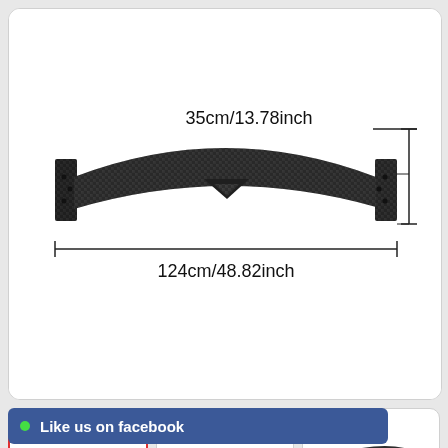[Figure (engineering-diagram): Carbon fiber car spoiler/trunk wing shown from front view with dimension annotations. Width: 124cm/48.82inch. Height: 35cm/13.78inch. Dimension lines shown with L-brackets.]
[Figure (photo): Thumbnail 1 (selected, red border): Same spoiler with dimension overlay text '35cm/13.78inch']
[Figure (photo): Thumbnail 2: Side view of the carbon fiber spoiler]
[Figure (photo): Thumbnail 3: Angled view of the carbon fiber spoiler showing mounting brackets]
Like us on facebook